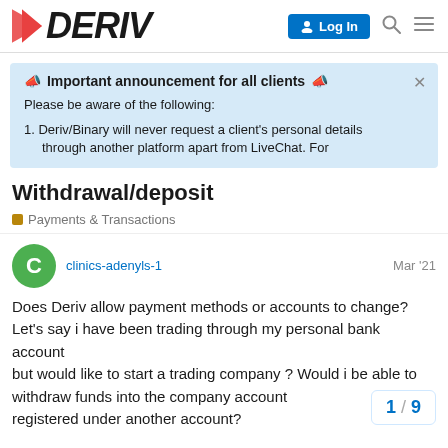DERIV | Log In
📣 Important announcement for all clients 📣
Please be aware of the following:
1. Deriv/Binary will never request a client's personal details through another platform apart from LiveChat. For
Withdrawal/deposit
Payments & Transactions
clinics-adenyls-1   Mar '21
Does Deriv allow payment methods or accounts to change? Let's say i have been trading through my personal bank account but would like to start a trading company ? Would i be able to withdraw funds into the company account registered under another account?
1 / 9